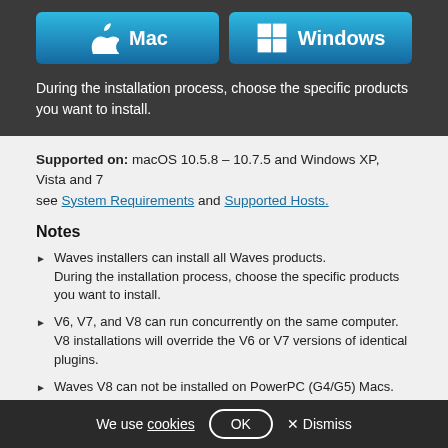[Figure (infographic): Mac and Windows OS selection buttons with gradient blue background]
During the installation process, choose the specific products you want to install.
Supported on: macOS 10.5.8 – 10.7.5 and Windows XP, Vista and 7 see System Requirements and Supported Hosts.
Notes
Waves installers can install all Waves products. During the installation process, choose the specific products you want to install.
V6, V7, and V8 can run concurrently on the same computer. V8 installations will override the V6 or V7 versions of identical plugins.
Waves V8 can not be installed on PowerPC (G4/G5) Macs.
Downgrades from Waves V9 to earlier versions and iLok authorization
We use cookies OK X Dismiss